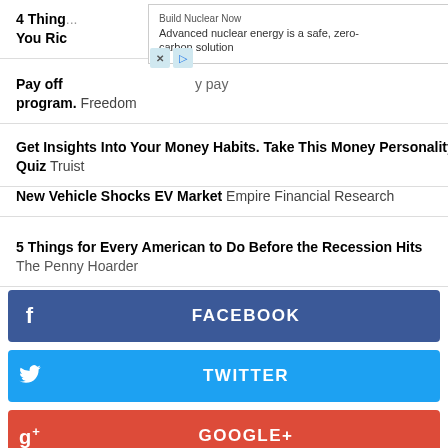4 Things That Will Make You Rich  Pay off [ad overlay] your debt fast with a debt payoff program. Freedom
Get Insights Into Your Money Habits. Take This Money Personality Quiz  Truist
New Vehicle Shocks EV Market  Empire Financial Research
5 Things for Every American to Do Before the Recession Hits  The Penny Hoarder
[Figure (other): Social share buttons: Facebook, Twitter, Google+, LinkedIn, Reddit, Print]
[Figure (infographic): Advertisement overlay: Build Nuclear Now - Advanced nuclear energy is a safe, zero-carbon solution - OPEN button]